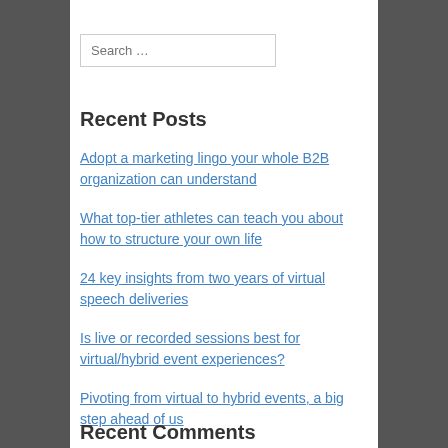Search …
Recent Posts
Adopt a marketing lingo your whole B2B organization can understand
What top-tier athletes can teach you about how to structure your own life
24 key insights from two years of virtual speech deliveries
Is live or recorded sessions best for virtual/hybrid event experiences?
Pivoting from virtual to hybrid events, a big step ahead of us
Recent Comments